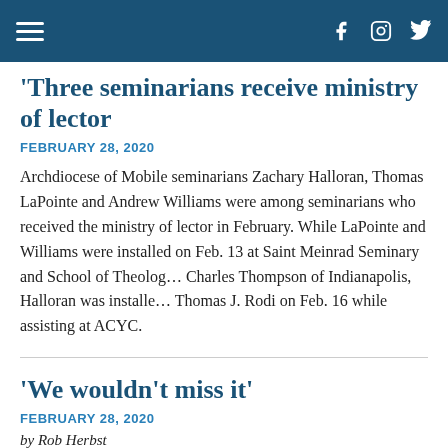Navigation bar with hamburger menu and social icons (Facebook, Instagram, Twitter)
‘Three seminarians receive ministry of lector
FEBRUARY 28, 2020
Archdiocese of Mobile seminarians Zachary Halloran, Thomas LaPointe and Andrew Williams were among seminarians who received the ministry of lector in February. While LaPointe and Williams were installed on Feb. 13 at Saint Meinrad Seminary and School of Theology by Charles Thompson of Indianapolis, Halloran was installed by Thomas J. Rodi on Feb. 16 while assisting at ACYC.
‘We wouldn’t miss it’
FEBRUARY 28, 2020
by Rob Herbst